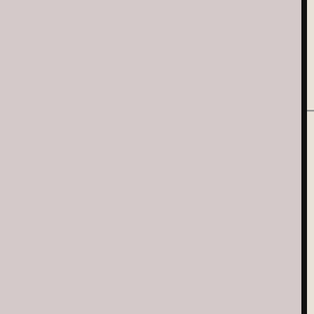Posted by: Adam on 9/9/2010 7:11:26 A...
thats what im saying the spot is a super ... in a brick and i dont want one of my 3 o... vapor is another one that i could care les... winners!! lol
Posted by: ned on 9/8/2010 4:51:13 PM
@ Ned, well at least its a super rare so y... even if you do, he'll make excellent trade... to have all of his villians.

Im pretty darn chuffed with the SR list in... out super rares online to fill in the gaps. ... want so my expenditure on this set has b... Wizkids, both they and i shall be happy....

Now whats the betting odds that the Gre... piece on the secondary market as peopl... Trio, and double or nothing that i dont pu...
Posted by: Ste on 9/7/2010 7:36:57 PM
if i get the spot i will kill something innoc... that?
Posted by: ned on 9/7/2010 4:00:27 PM